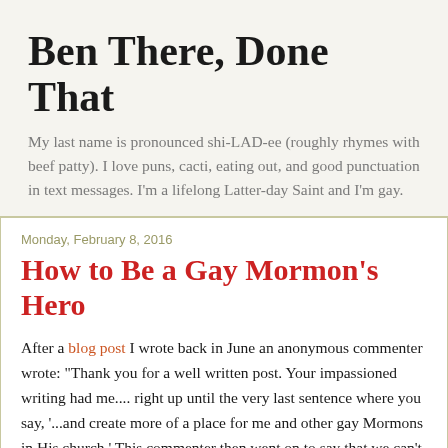Ben There, Done That
My last name is pronounced shi-LAD-ee (roughly rhymes with beef patty). I love puns, cacti, eating out, and good punctuation in text messages. I'm a lifelong Latter-day Saint and I'm gay.
Monday, February 8, 2016
How to Be a Gay Mormon's Hero
After a blog post I wrote back in June an anonymous commenter wrote: "Thank you for a well written post. Your impassioned writing had me.... right up until the very last sentence where you say, '...and create more of a place for me and other gay Mormons in His church.' This commenter then went on to say that we can't expect God to bend His will to our appetites because that's just not part of His plan. The commenter obviously thought that I meant that I was praying for the church to allow gay marriage, but that's not what I was implying at all. I know many gay members who